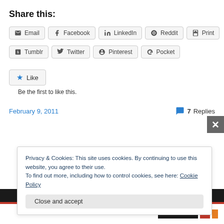Share this:
Email  Facebook  LinkedIn  Reddit  Print
Tumblr  Twitter  Pinterest  Pocket
Like  Be the first to like this.
February 9, 2011    7 Replies
Privacy & Cookies: This site uses cookies. By continuing to use this website, you agree to their use.
To find out more, including how to control cookies, see here: Cookie Policy
Close and accept